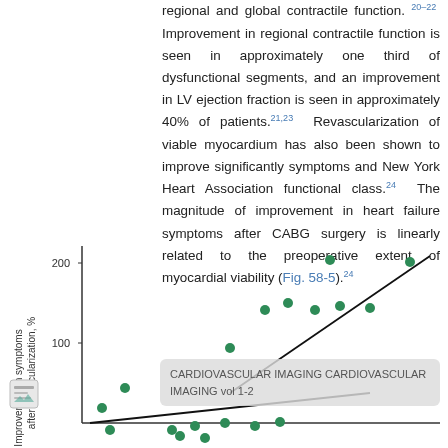regional and global contractile function.20–22 Improvement in regional contractile function is seen in approximately one third of dysfunctional segments, and an improvement in LV ejection fraction is seen in approximately 40% of patients.21,23 Revascularization of viable myocardium has also been shown to improve significantly symptoms and New York Heart Association functional class.24 The magnitude of improvement in heart failure symptoms after CABG surgery is linearly related to the preoperative extent of myocardial viability (Fig. 58-5).24
[Figure (scatter-plot): Scatter plot showing improvement in symptoms after revascularization (%) vs preoperative extent of myocardial viability, with a positive linear trend line. Data points are green circles distributed from low to high values, with two points near 200% at higher viability values.]
CARDIOVASCULAR IMAGING CARDIOVASCULAR IMAGING vol 1-2